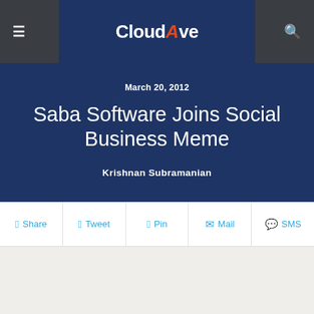CloudAve
March 20, 2012
Saba Software Joins Social Business Meme
Krishnan Subramanian
Share  Tweet  Pin  Mail  SMS